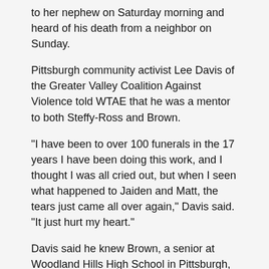to her nephew on Saturday morning and heard of his death from a neighbor on Sunday.
Pittsburgh community activist Lee Davis of the Greater Valley Coalition Against Violence told WTAE that he was a mentor to both Steffy-Ross and Brown.
"I have been to over 100 funerals in the 17 years I have been doing this work, and I thought I was all cried out, but when I seen what happened to Jaiden and Matt, the tears just came all over again," Davis said. "It just hurt my heart."
Davis said he knew Brown, a senior at Woodland Hills High School in Pittsburgh, since he was a child.
“His energy was great,” Davis said of Brown. "Everybody loved him, and he became very well-liked in the community. To see this happen to him was really heartbreaking ... because he had a very bright future."